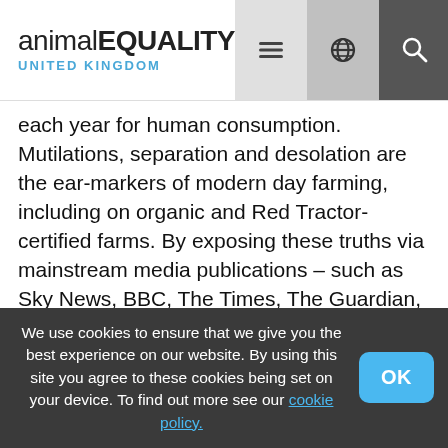animal EQUALITY UNITED KINGDOM
each year for human consumption. Mutilations, separation and desolation are the ear-markers of modern day farming, including on organic and Red Tractor-certified farms. By exposing these truths via mainstream media publications – such as Sky News, BBC, The Times, The Guardian, the Independent, TALKRadio and more –  hundreds of millions of people are seeing the impact of their dietary choices on the animals trapped in the system. Without such releases, many people would be unaware that calves are separated from their mothers, chickens are collectively
We use cookies to ensure that we give you the best experience on our website. By using this site you agree to these cookies being set on your device. To find out more see our cookie policy.